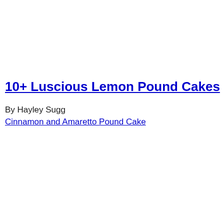10+ Luscious Lemon Pound Cakes
By Hayley Sugg
Cinnamon and Amaretto Pound Cake